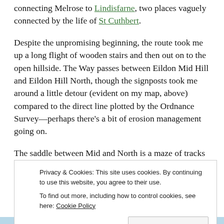connecting Melrose to Lindisfarne, two places vaguely connected by the life of St Cuthbert.
Despite the unpromising beginning, the route took me up a long flight of wooden stairs and then out on to the open hillside. The Way passes between Eildon Mid Hill and Eildon Hill North, though the signposts took me around a little detour (evident on my map, above) compared to the direct line plotted by the Ordnance Survey—perhaps there's a bit of erosion management going on.
The saddle between Mid and North is a maze of tracks and paths, skirting a large hole in the ground that looks like an
Privacy & Cookies: This site uses cookies. By continuing to use this website, you agree to their use.
To find out more, including how to control cookies, see here: Cookie Policy